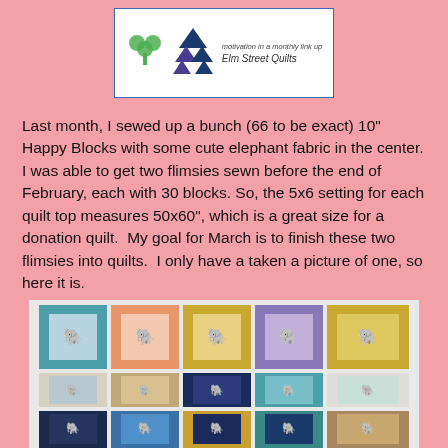[Figure (logo): Elm Street Quilts logo with shamrock and triangle tree shapes, tagline 'motivation in a monthly link up', name 'Elm Street Quilts']
Last month, I sewed up a bunch (66 to be exact) 10" Happy Blocks with some cute elephant fabric in the center. I was able to get two flimsies sewn before the end of February, each with 30 blocks. So, the 5x6 setting for each quilt top measures 50x60", which is a great size for a donation quilt. My goal for March is to finish these two flimsies into quilts. I only have a taken a picture of one, so here it is.
[Figure (photo): A quilt top made of 10-inch Happy Blocks arranged in a 5x3 visible grid with elephant fabric centers, surrounded by various colored borders. Colors include blue, orange, yellow, purple, teal, white, and dark navy.]